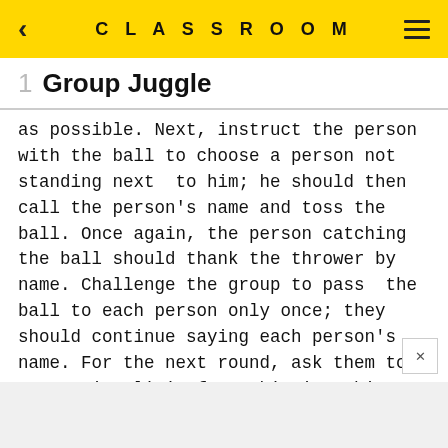CLASSROOM
1  Group Juggle
as possible. Next, instruct the person with the ball to choose a person not standing next to him; he should then call the person's name and toss the ball. Once again, the person catching the ball should thank the thrower by name. Challenge the group to pass the ball to each person only once; they should continue saying each person's name. For the next round, ask them to set a time limit for achieving this goal, then challenge them to improve on their time.